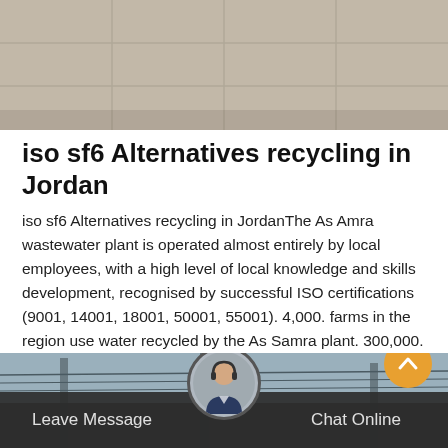[Figure (photo): Top portion of a photo showing a light-colored tiled or stone floor surface]
iso sf6 Alternatives recycling in Jordan
iso sf6 Alternatives recycling in JordanThe As Amra wastewater plant is operated almost entirely by local employees, with a high level of local knowledge and skills development, recognised by successful ISO certifications (9001, 14001, 18001, 50001, 55001). 4,000. farms in the region use water recycled by the As Samra plant. 300,000.
Get Price
[Figure (photo): Bottom portion showing a photo of utility poles/electrical infrastructure with a dark semi-transparent bottom bar showing Leave Message and Chat Online options, and a customer service avatar in the center]